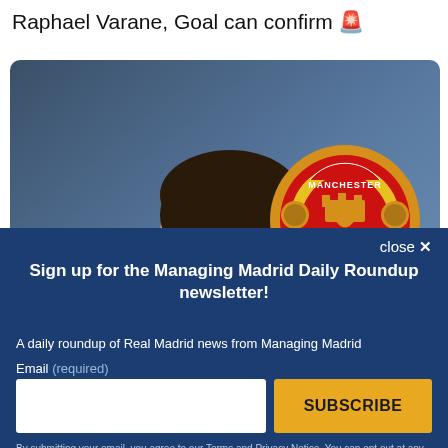Raphael Varane, Goal can confirm 🚨
[Figure (photo): Photo of Raphael Varane in white jersey with Manchester United crest overlay on blue-grey background]
close ✕
Sign up for the Managing Madrid Daily Roundup newsletter!
A daily roundup of Real Madrid news from Managing Madrid
Email (required)
SUBSCRIBE
By submitting your email, you agree to our Terms and Privacy Notice. You can opt out at any time. This site is protected by reCAPTCHA and the Google Privacy Policy and Terms of Service apply.